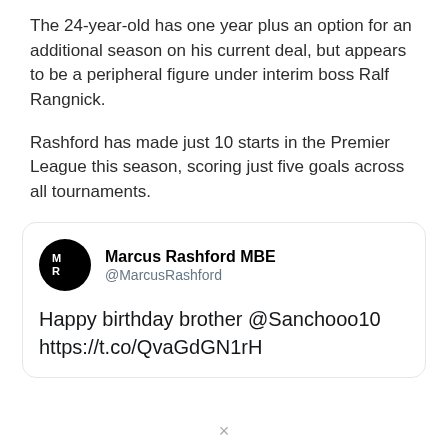The 24-year-old has one year plus an option for an additional season on his current deal, but appears to be a peripheral figure under interim boss Ralf Rangnick.
Rashford has made just 10 starts in the Premier League this season, scoring just five goals across all tournaments.
[Figure (screenshot): Embedded tweet from Marcus Rashford MBE (@MarcusRashford) saying: Happy birthday brother @Sanchooo10 https://t.co/QvaGdGN1rH]